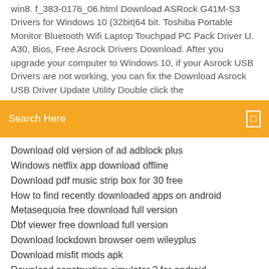win8. f_383-0176_06.html Download ASRock G41M-S3 Drivers for Windows 10 (32bit|64 bit. Toshiba Portable Monitor Bluetooth Wifi Laptop Touchpad PC Pack Driver U. A30, Bios, Free Asrock Drivers Download. After you upgrade your computer to Windows 10, if your Asrock USB Drivers are not working, you can fix the Download Asrock USB Driver Update Utility Double click the
Search Here
Download old version of ad adblock plus
Windows netflix app download offline
Download pdf music strip box for 30 free
How to find recently downloaded apps on android
Metasequoia free download full version
Dbf viewer free download full version
Download lockdown browser oem wileyplus
Download misfit mods apk
Download construction simulator 2 for android
Download mass effect 3 highly compressed for pc